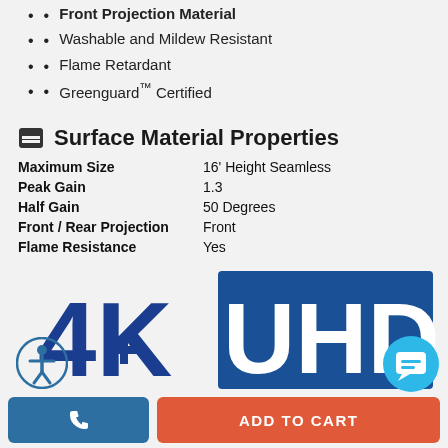Front Projection Material
Washable and Mildew Resistant
Flame Retardant
Greenguard™ Certified
Surface Material Properties
| Property | Value |
| --- | --- |
| Maximum Size | 16' Height Seamless |
| Peak Gain | 1.3 |
| Half Gain | 50 Degrees |
| Front / Rear Projection | Front |
| Flame Resistance | Yes |
[Figure (logo): 4K UHD logo with large bold blue '4K' text and 'UHD' text on a dark blue background rectangle]
[Figure (illustration): Circular accessibility icon (person in circle) on left and circular chat bubble icon on right]
ADD TO CART